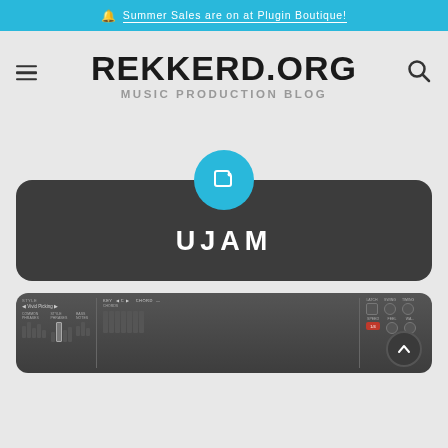🔔 Summer Sales are on at Plugin Boutique!
REKKERD.ORG MUSIC PRODUCTION BLOG
[Figure (logo): REKKERD.ORG Music Production Blog logo with hamburger menu icon on left and search icon on right]
[Figure (illustration): Dark rounded card with a cyan/blue circular tag icon at the top center and the brand name UJAM in white bold uppercase letters]
[Figure (screenshot): Partial screenshot of a UJAM plugin interface showing STYLE, COMMON PHRASES, STYLE PHRASES, BASS NOTES sections with piano roll style controls, KEY, CHORD, LATCH, SWING, TIMING controls]